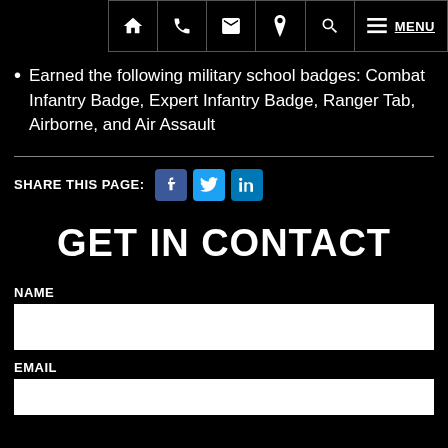Navigation bar with home, phone, email, location, search, menu icons and MENU link
Earned the following military school badges: Combat Infantry Badge, Expert Infantry Badge, Ranger Tab, Airborne, and Air Assault
SHARE THIS PAGE:
GET IN CONTACT
NAME
EMAIL